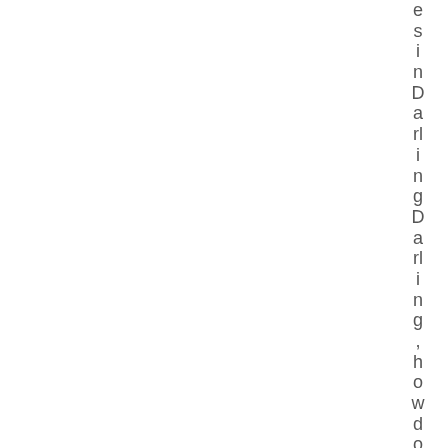esinDarlingDarling, how do they look